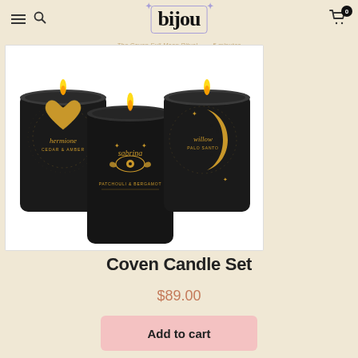bijou — navigation with hamburger menu, search, and cart (0 items)
The Coven Full Moon Ritual  •  5 minutes
[Figure (photo): Three black candles with gold decorative labels: 'hermione' with a heart motif, 'sabrina' with an eye and wings motif, and 'willow' with a crescent moon motif. Candles are arranged in a trio against a white background.]
Coven Candle Set
$89.00
Add to cart